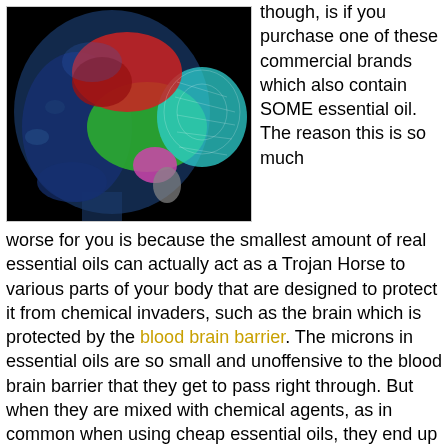[Figure (photo): Medical illustration of a human head in profile (blue-toned) showing a colorful brain with different regions highlighted in red, green, teal, and pink colors, suggesting brain mapping or neuroscience imaging.]
though, is if you purchase one of these commercial brands which also contain SOME essential oil. The reason this is so much worse for you is because the smallest amount of real essential oils can actually act as a Trojan Horse to various parts of your body that are designed to protect it from chemical invaders, such as the brain which is protected by the blood brain barrier. The microns in essential oils are so small and unoffensive to the blood brain barrier that they get to pass right through. But when they are mixed with chemical agents, as in common when using cheap essential oils, they end up opening these protective barriers